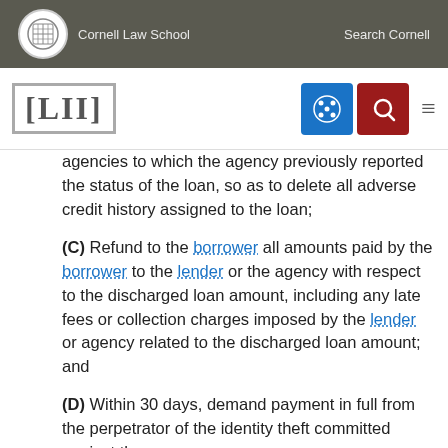Cornell Law School   Search Cornell
agencies to which the agency previously reported the status of the loan, so as to delete all adverse credit history assigned to the loan;
(C) Refund to the borrower all amounts paid by the borrower to the lender or the agency with respect to the discharged loan amount, including any late fees or collection charges imposed by the lender or agency related to the discharged loan amount; and
(D) Within 30 days, demand payment in full from the perpetrator of the identity theft committed against the